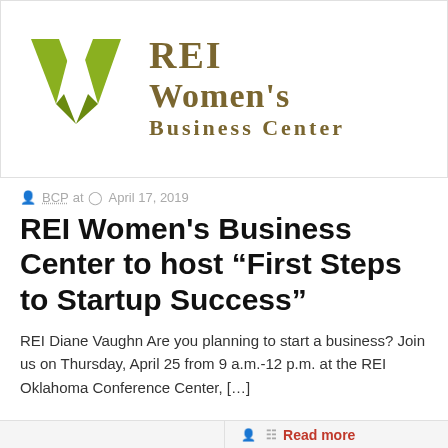[Figure (logo): REI Women's Business Center logo with green W-shaped wing icon and gold text reading REI Women's Business Center]
BCP at  April 17, 2019
REI Women’s Business Center to host “First Steps to Startup Success”
REI Diane Vaughn Are you planning to start a business? Join us on Thursday, April 25 from 9 a.m.-12 p.m. at the REI Oklahoma Conference Center, […]